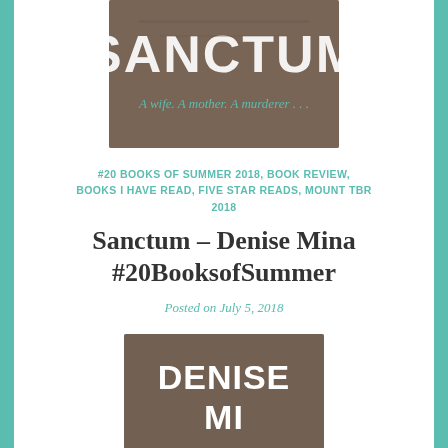[Figure (illustration): Top portion of book cover for 'Sanctum' by Denise Mina showing title 'SANCTUM' in distressed white letters on a brown/grey textured background with subtitle 'A wife. A mother. A murderer...' in teal text]
#20 BOOKS OF SUMMER 2018, BOOK REVIEW, BOOKS I HAVE READ, FIVE STAR READS, MOUNT TBR 2018
Sanctum – Denise Mina #20BooksofSummer
Posted on July 5, 2018
[Figure (illustration): Bottom portion of book cover for Sanctum by Denise Mina showing author name 'DENISE MINA' in large white letters on a grey/brown textured background]